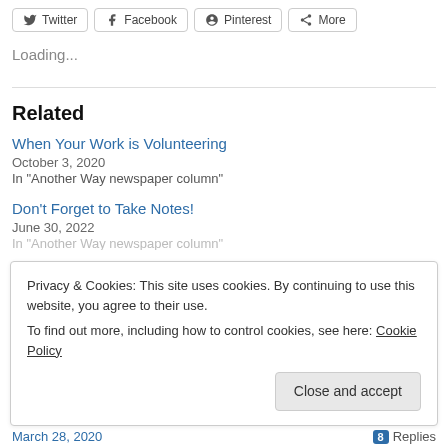[Figure (other): Social share buttons: Twitter, Facebook, Pinterest, More]
Loading...
Related
When Your Work is Volunteering
October 3, 2020
In "Another Way newspaper column"
Don't Forget to Take Notes!
June 30, 2022
Privacy & Cookies: This site uses cookies. By continuing to use this website, you agree to their use.
To find out more, including how to control cookies, see here: Cookie Policy
Close and accept
March 28, 2020